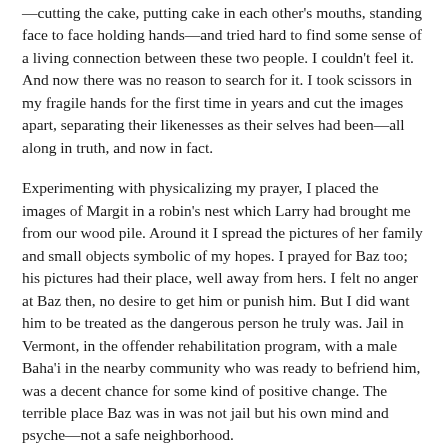—cutting the cake, putting cake in each other's mouths, standing face to face holding hands—and tried hard to find some sense of a living connection between these two people. I couldn't feel it. And now there was no reason to search for it. I took scissors in my fragile hands for the first time in years and cut the images apart, separating their likenesses as their selves had been—all along in truth, and now in fact.
Experimenting with physicalizing my prayer, I placed the images of Margit in a robin's nest which Larry had brought me from our wood pile. Around it I spread the pictures of her family and small objects symbolic of my hopes. I prayed for Baz too; his pictures had their place, well away from hers. I felt no anger at Baz then, no desire to get him or punish him. But I did want him to be treated as the dangerous person he truly was. Jail in Vermont, in the offender rehabilitation program, with a male Baha'i in the nearby community who was ready to befriend him, was a decent chance for some kind of positive change. The terrible place Baz was in was not jail but his own mind and psyche—not a safe neighborhood.